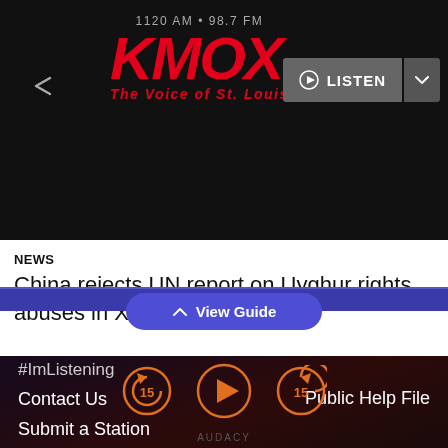[Figure (logo): KMOX 1120 AM 98.7 FM The Voice of St. Louis radio station logo in red italic letters on dark background]
[Figure (other): Listen button with play icon and dropdown chevron, dark gray background]
NEWS
China rejects UN report on Uyghur rights abuses in Xinjiang
#ImListening
Contact Us
Submit a Station
Submit a Podcast
Sitemap
Advertise with Us
Public Help File
[Figure (other): View Guide button with upward chevron, blue rounded button on blue bar]
[Figure (other): Audio player controls: rewind 15 seconds, play, forward 15 seconds — orange circle buttons]